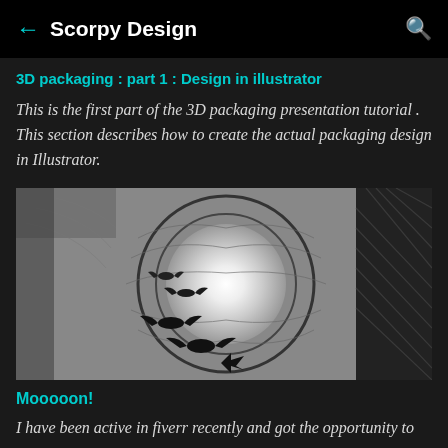Scorpy Design
3D packaging : part 1 : Design in illustrator
This is the first part of the 3D packaging presentation tutorial . This section describes how to create the actual packaging design in Illustrator.
[Figure (illustration): Black and white illustration showing a circular tunnel or vortex with a bright glowing center, bats flying on the left side, and dark crosshatched areas on the right. The style is manga/comic-like with dynamic line art.]
Mooooon!
I have been active in fiverr recently and got the opportunity to